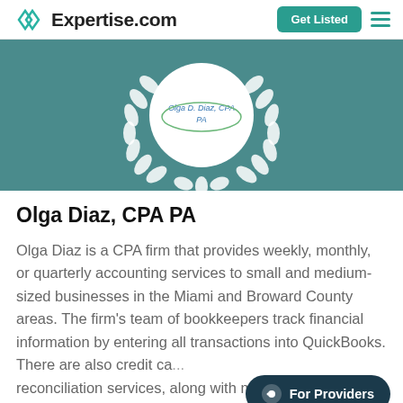Expertise.com — Get Listed
[Figure (logo): Expertise.com award badge with laurel wreath and Olga D. Diaz, CPA PA logo in center circle, on teal background]
Olga Diaz, CPA PA
Olga Diaz is a CPA firm that provides weekly, monthly, or quarterly accounting services to small and medium-sized businesses in the Miami and Broward County areas. The firm's team of bookkeepers track financial information by entering all transactions into QuickBooks. There are also credit ca... reconciliation services, along with monthly prepared